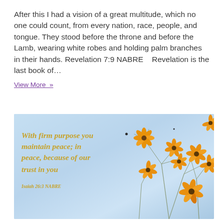After this I had a vision of a great multitude, which no one could count, from every nation, race, people, and tongue. They stood before the throne and before the Lamb, wearing white robes and holding palm branches in their hands. Revelation 7:9 NABRE    Revelation is the last book of...
View More »
[Figure (photo): Photo of yellow/orange wildflowers against a light blue sky background, with an overlaid italic gold/yellow script quote: 'With firm purpose you maintain peace; in peace, because of our trust in you' and reference 'Isaiah 26:3 NABRE']